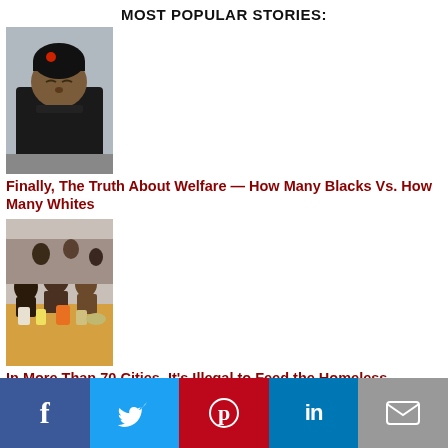MOST POPULAR STORIES:
[Figure (photo): Person sleeping outdoors in winter clothing]
Finally, The Truth About Welfare — How Many Blacks Vs. How Many Whites
[Figure (photo): People gathered around food at an outdoor market/food distribution]
In More Than 70 Cities, It's Illegal to Feed the Homeless Because...
[Figure (map): Map of the United States with colored dots/regions]
Facebook | Twitter | Pinterest | LinkedIn | Email